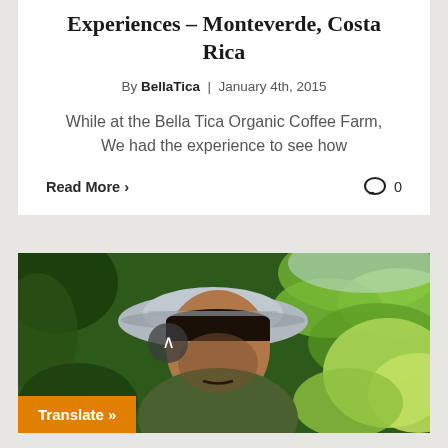Experiences – Monteverde, Costa Rica
By BellaTica | January 4th, 2015
While at the Bella Tica Organic Coffee Farm, We had the experience to see how
Read More >
0
[Figure (photo): A man wearing a grey hat looking downward near large green tropical leaves, at the Bella Tica Organic Coffee Farm in Monteverde, Costa Rica. A 'Translate »' button is visible in the bottom-left corner.]